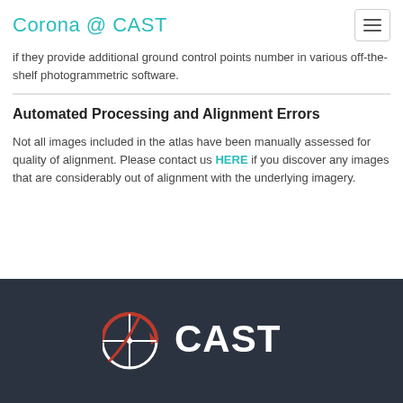Corona @ CAST
if they provide additional ground control points number in various off-the-shelf photogrammetric software.
Automated Processing and Alignment Errors
Not all images included in the atlas have been manually assessed for quality of alignment. Please contact us HERE if you discover any images that are considerably out of alignment with the underlying imagery.
[Figure (logo): CAST logo on dark background — globe icon with red arc and white CAST text]